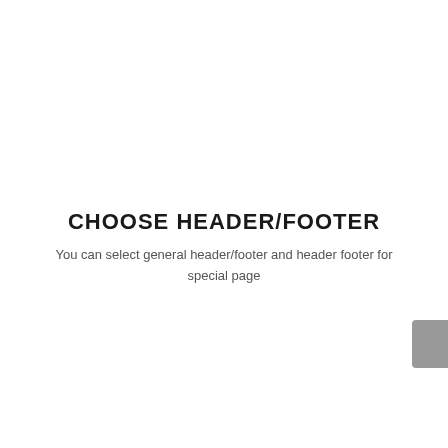CHOOSE HEADER/FOOTER
You can select general header/footer and header footer for special page